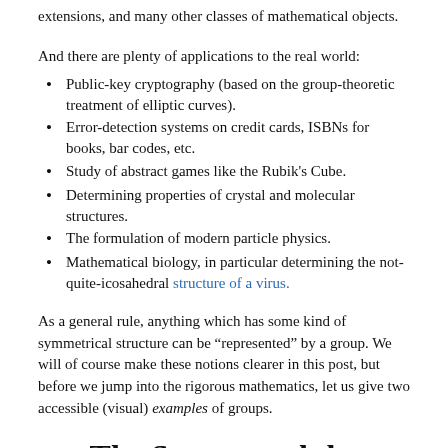extensions, and many other classes of mathematical objects.
And there are plenty of applications to the real world:
Public-key cryptography (based on the group-theoretic treatment of elliptic curves).
Error-detection systems on credit cards, ISBNs for books, bar codes, etc.
Study of abstract games like the Rubik's Cube.
Determining properties of crystal and molecular structures.
The formulation of modern particle physics.
Mathematical biology, in particular determining the not-quite-icosahedral structure of a virus.
As a general rule, anything which has some kind of symmetrical structure can be “represented” by a group. We will of course make these notions clearer in this post, but before we jump into the rigorous mathematics, let us give two accessible (visual) examples of groups.
The Square and the Rubik’s